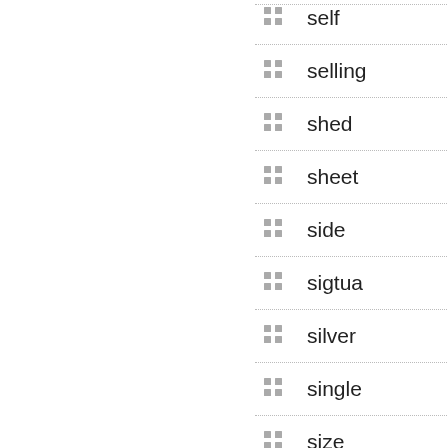self
selling
shed
sheet
side
sigtua
silver
single
size
sky5142
small
smoker
sobuy
sofa
solar